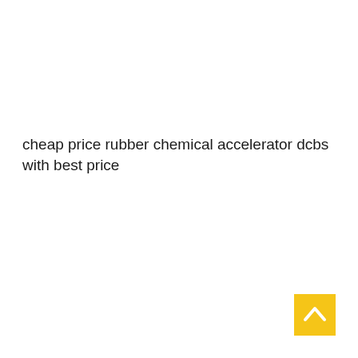cheap price rubber chemical accelerator dcbs with best price
[Figure (other): Yellow square button with a white upward-pointing chevron/arrow icon in the bottom-right corner of the page]